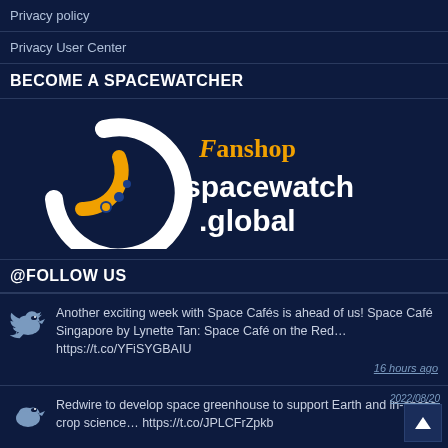Privacy policy
Privacy User Center
BECOME A SPACEWATCHER
[Figure (logo): Spacewatch.global Fanshop logo — circular arc icon in white and orange/blue with text 'spacewatch.global' and 'FANSHOP' in orange]
@FOLLOW US
Another exciting week with Space Cafés is ahead of us! Space Café Singapore by Lynette Tan: Space Café on the Red… https://t.co/YFiSYGBAIU
16 hours ago
Redwire to develop space greenhouse to support Earth and in-space crop science… https://t.co/JPLCFrZpkb
2022/08/20